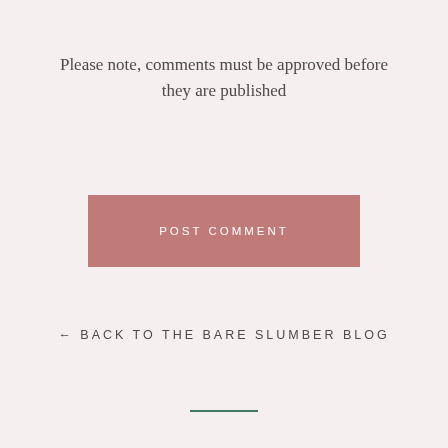Please note, comments must be approved before they are published
[Figure (other): Pink button labeled POST COMMENT]
← BACK TO THE BARE SLUMBER BLOG
[Figure (other): Teal horizontal divider line]
Search
Return Policy
Terms & Conditions